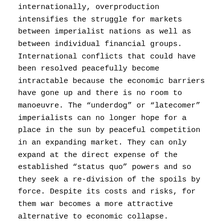internationally, overproduction intensifies the struggle for markets between imperialist nations as well as between individual financial groups. International conflicts that could have been resolved peacefully become intractable because the economic barriers have gone up and there is no room to manoeuvre. The “underdog” or “latecomer” imperialists can no longer hope for a place in the sun by peaceful competition in an expanding market. They can only expand at the direct expense of the established “status quo” powers and so they seek a re-division of the spoils by force. Despite its costs and risks, for them war becomes a more attractive alternative to economic collapse.
On questions of war and peace, the general “left” attitudes are perhaps even worse than the whining domestic demands that capitalists should continue running things but should do so more humanely and with less unemployment. Just as they shut their eyes to the real impossibility of continuing capitalist prosperity and “demand” a boom economy, they also shut their eyes to the real inevitability of imperialist war and “demand” peace. Pretending that the Soviet